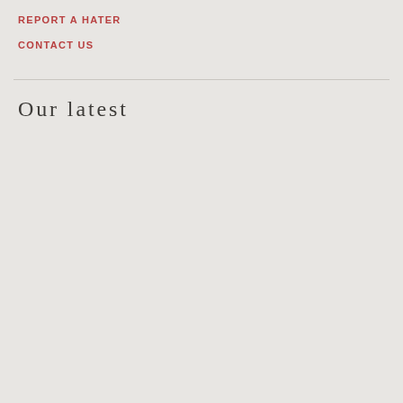REPORT A HATER
CONTACT US
Our latest